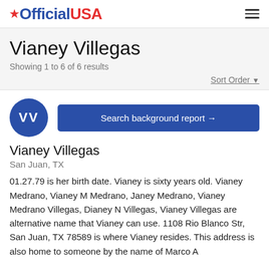OfficialUSA
Vianey Villegas
Showing 1 to 6 of 6 results
Sort Order
[Figure (other): Dark blue circular avatar with white initials VV]
Search background report →
Vianey Villegas
San Juan, TX
01.27.79 is her birth date. Vianey is sixty years old. Vianey Medrano, Vianey M Medrano, Janey Medrano, Vianey Medrano Villegas, Dianey N Villegas, Vianey Villegas are alternative name that Vianey can use. 1108 Rio Blanco Str, San Juan, TX 78589 is where Vianey resides. This address is also home to someone by the name of Marco A